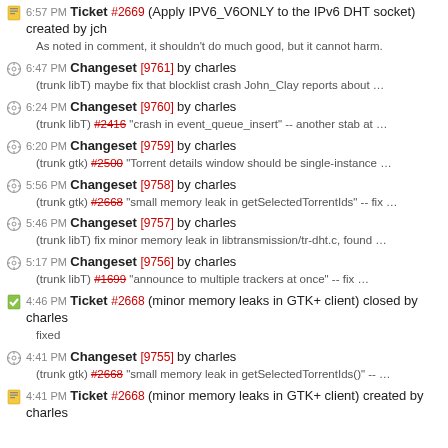6:57 PM Ticket #2669 (Apply IPV6_V6ONLY to the IPv6 DHT socket) created by jch
As noted in comment, it shouldn't do much good, but it cannot harm.
6:47 PM Changeset [9761] by charles
(trunk libT) maybe fix that blocklist crash John_Clay reports about …
6:24 PM Changeset [9760] by charles
(trunk libT) #2416 "crash in event_queue_insert" -- another stab at …
6:20 PM Changeset [9759] by charles
(trunk gtk) #2500 "Torrent details window should be single-instance …
5:56 PM Changeset [9758] by charles
(trunk gtk) #2668 "small memory leak in getSelectedTorrentIds" -- fix …
5:46 PM Changeset [9757] by charles
(trunk libT) fix minor memory leak in libtransmission/tr-dht.c, found …
5:17 PM Changeset [9756] by charles
(trunk libT) #1699 "announce to multiple trackers at once" -- fix …
4:46 PM Ticket #2668 (minor memory leaks in GTK+ client) closed by charles
fixed
4:41 PM Changeset [9755] by charles
(trunk gtk) #2668 "small memory leak in getSelectedTorrentIds()" -- …
4:41 PM Ticket #2668 (minor memory leaks in GTK+ client) created by charles